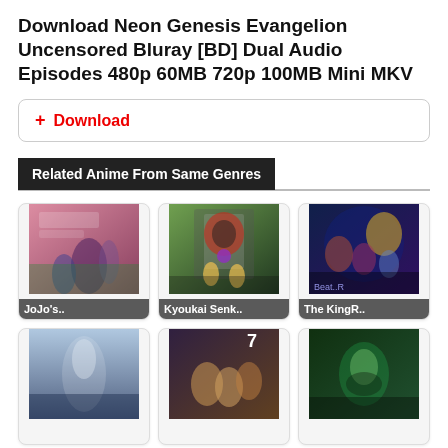Download Neon Genesis Evangelion Uncensored Bluray [BD] Dual Audio Episodes 480p 60MB 720p 100MB Mini MKV
+ Download
Related Anime From Same Genres
[Figure (illustration): Anime thumbnail: JoJo's..]
[Figure (illustration): Anime thumbnail: Kyoukai Senk..]
[Figure (illustration): Anime thumbnail: The KingR..]
[Figure (illustration): Anime thumbnail (partial, bottom row left)]
[Figure (illustration): Anime thumbnail (partial, bottom row center) with number 7]
[Figure (illustration): Anime thumbnail (partial, bottom row right)]